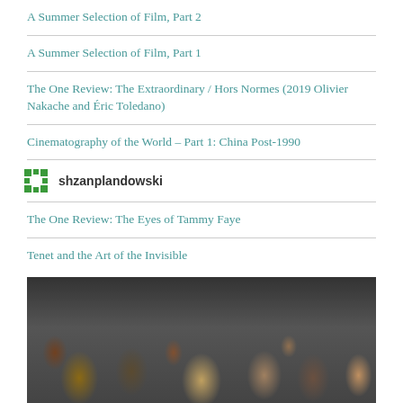A Summer Selection of Film, Part 2
A Summer Selection of Film, Part 1
The One Review: The Extraordinary / Hors Normes (2019 Olivier Nakache and Éric Toledano)
Cinematography of the World – Part 1: China Post-1990
shzanplandowski
The One Review: The Eyes of Tammy Faye
Tenet and the Art of the Invisible
[Figure (photo): Group photo of people, appears to be a movie scene or event with multiple individuals crowded together]